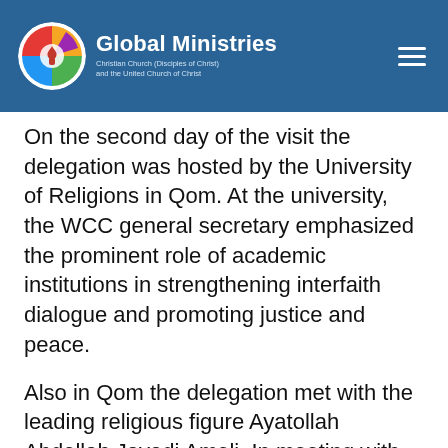Global Ministries — Christian Church (Disciples of Christ) and the United Church of Christ
On the second day of the visit the delegation was hosted by the University of Religions in Qom. At the university, the WCC general secretary emphasized the prominent role of academic institutions in strengthening interfaith dialogue and promoting justice and peace.
Also in Qom the delegation met with the leading religious figure Ayatollah Abdollah Javadi Amoli. In meeting with him, Tveit stressed the responsibility of leaders of faith in promoting justice and peace to build a